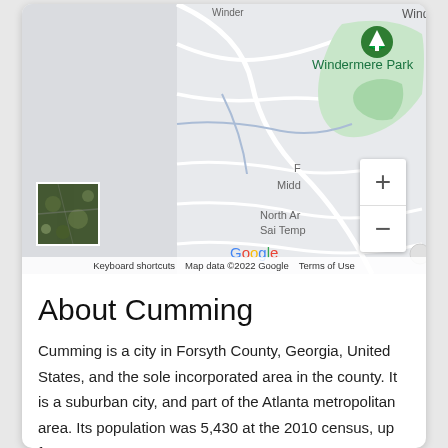[Figure (map): Google Maps screenshot showing Windermere Park area with zoom controls, satellite thumbnail, Google logo, and map attribution footer reading 'Keyboard shortcuts  Map data ©2022 Google  Terms of Use']
About Cumming
Cumming is a city in Forsyth County, Georgia, United States, and the sole incorporated area in the county. It is a suburban city, and part of the Atlanta metropolitan area. Its population was 5,430 at the 2010 census, up from 4,200